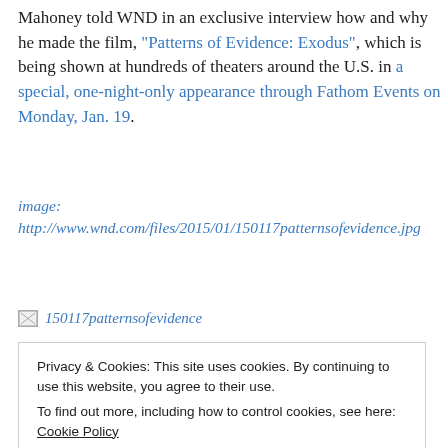Mahoney told WND in an exclusive interview how and why he made the film, "Patterns of Evidence: Exodus", which is being shown at hundreds of theaters around the U.S. in a special, one-night-only appearance through Fathom Events on Monday, Jan. 19.
image: http://www.wnd.com/files/2015/01/150117patternsofevidence.jpg
[Figure (other): Broken image placeholder with alt text '150117patternsofevidence']
Privacy & Cookies: This site uses cookies. By continuing to use this website, you agree to their use.
To find out more, including how to control cookies, see here: Cookie Policy
[Close and accept button]